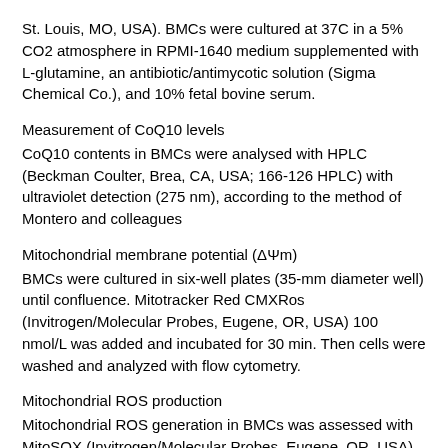St. Louis, MO, USA). BMCs were cultured at 37C in a 5% CO2 atmosphere in RPMI-1640 medium supplemented with L-glutamine, an antibiotic/antimycotic solution (Sigma Chemical Co.), and 10% fetal bovine serum.
Measurement of CoQ10 levels
CoQ10 contents in BMCs were analysed with HPLC (Beckman Coulter, Brea, CA, USA; 166-126 HPLC) with ultraviolet detection (275 nm), according to the method of Montero and colleagues
Mitochondrial membrane potential (ΔΨm)
BMCs were cultured in six-well plates (35-mm diameter well) until confluence. Mitotracker Red CMXRos (Invitrogen/Molecular Probes, Eugene, OR, USA) 100 nmol/L was added and incubated for 30 min. Then cells were washed and analyzed with flow cytometry.
Mitochondrial ROS production
Mitochondrial ROS generation in BMCs was assessed with MitoSOX (Invitrogen/Molecular Probes, Eugene, OR, USA)